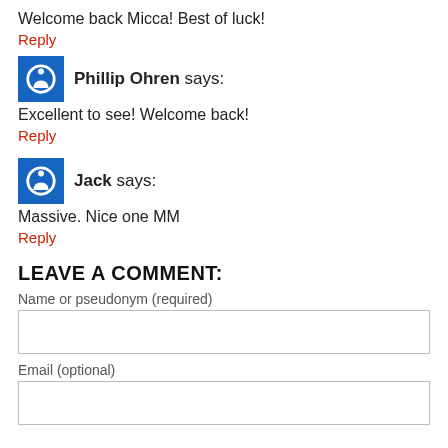Welcome back Micca! Best of luck!
Reply
Phillip Ohren says:
Excellent to see! Welcome back!
Reply
Jack says:
Massive. Nice one MM
Reply
LEAVE A COMMENT:
Name or pseudonym (required)
Email (optional)